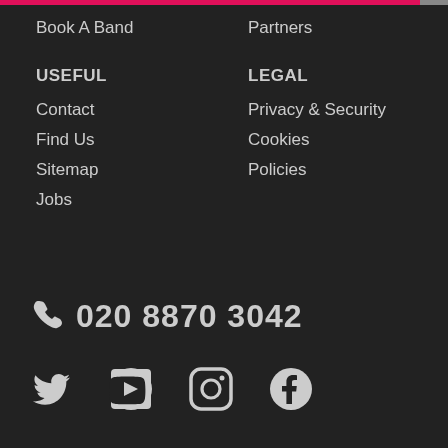Book A Band
Partners
USEFUL
LEGAL
Contact
Privacy & Security
Find Us
Cookies
Sitemap
Policies
Jobs
020 8870 3042
[Figure (infographic): Social media icons: Twitter, YouTube, Instagram, Facebook]